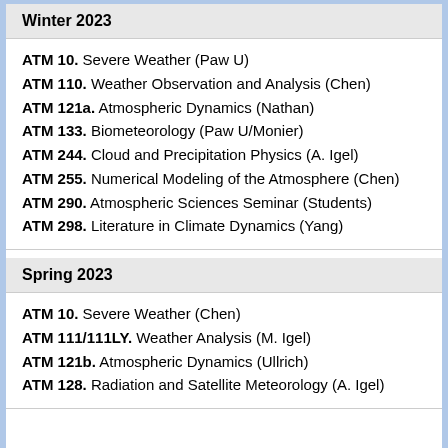Winter 2023
ATM 10. Severe Weather (Paw U)
ATM 110. Weather Observation and Analysis (Chen)
ATM 121a. Atmospheric Dynamics (Nathan)
ATM 133. Biometeorology (Paw U/Monier)
ATM 244. Cloud and Precipitation Physics (A. Igel)
ATM 255. Numerical Modeling of the Atmosphere (Chen)
ATM 290. Atmospheric Sciences Seminar (Students)
ATM 298. Literature in Climate Dynamics (Yang)
Spring 2023
ATM 10. Severe Weather (Chen)
ATM 111/111LY. Weather Analysis (M. Igel)
ATM 121b. Atmospheric Dynamics (Ullrich)
ATM 128. Radiation and Satellite Meteorology (A. Igel)